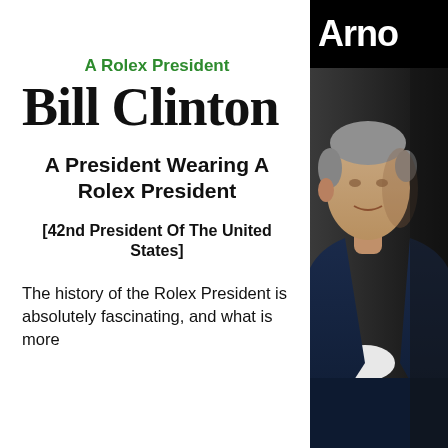A Rolex President
Bill Clinton
A President Wearing A Rolex President
[42nd President Of The United States]
The history of the Rolex President is absolutely fascinating, and what is more
[Figure (photo): Photo of an elderly man with grey hair wearing a dark navy suit, partially cropped, with a black header bar showing partial text 'Arno']